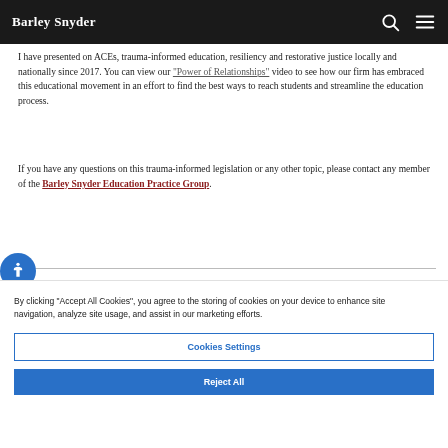Barley Snyder
I have presented on ACEs, trauma-informed education, resiliency and restorative justice locally and nationally since 2017. You can view our “Power of Relationships” video to see how our firm has embraced this educational movement in an effort to find the best ways to reach students and streamline the education process.
If you have any questions on this trauma-informed legislation or any other topic, please contact any member of the Barley Snyder Education Practice Group.
By clicking “Accept All Cookies”, you agree to the storing of cookies on your device to enhance site navigation, analyze site usage, and assist in our marketing efforts.
Cookies Settings
Reject All